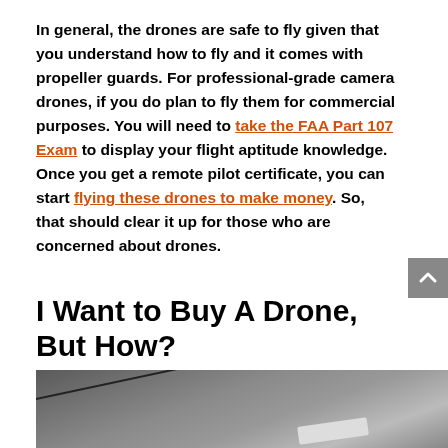In general, the drones are safe to fly given that you understand how to fly and it comes with propeller guards. For professional-grade camera drones, if you do plan to fly them for commercial purposes. You will need to take the FAA Part 107 Exam to display your flight aptitude knowledge. Once you get a remote pilot certificate, you can start flying these drones to make money. So, that should clear it up for those who are concerned about drones.
I Want to Buy A Drone, But How?
[Figure (photo): Photograph of a drone or drone component on a grey surface, partially visible at the bottom of the page]